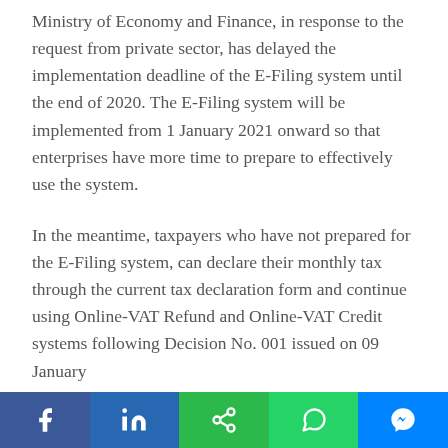Ministry of Economy and Finance, in response to the request from private sector, has delayed the implementation deadline of the E-Filing system until the end of 2020. The E-Filing system will be implemented from 1 January 2021 onward so that enterprises have more time to prepare to effectively use the system.
In the meantime, taxpayers who have not prepared for the E-Filing system, can declare their monthly tax through the current tax declaration form and continue using Online-VAT Refund and Online-VAT Credit systems following Decision No. 001 issued on 09 January